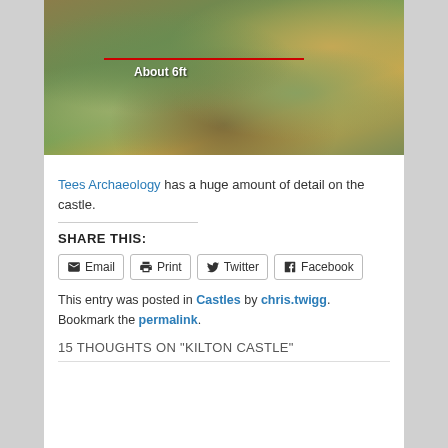[Figure (photo): Overgrown vegetation and grass area with a red horizontal line annotated 'About 6ft' overlaid on the image, indicating a measurement scale at a castle site.]
Tees Archaeology has a huge amount of detail on the castle.
SHARE THIS:
Email  Print  Twitter  Facebook
This entry was posted in Castles by chris.twigg. Bookmark the permalink.
15 THOUGHTS ON "KILTON CASTLE"